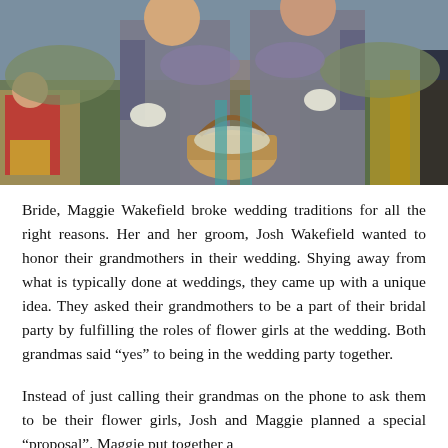[Figure (photo): Two elderly women in matching grey lace dresses carrying a wicker basket with flowers, acting as flower girls at an outdoor wedding ceremony. Guests are seated on either side.]
Bride, Maggie Wakefield broke wedding traditions for all the right reasons. Her and her groom, Josh Wakefield wanted to honor their grandmothers in their wedding. Shying away from what is typically done at weddings, they came up with a unique idea. They asked their grandmothers to be a part of their bridal party by fulfilling the roles of flower girls at the wedding. Both grandmas said “yes” to being in the wedding party together.
Instead of just calling their grandmas on the phone to ask them to be their flower girls, Josh and Maggie planned a special “proposal”. Maggie put together a